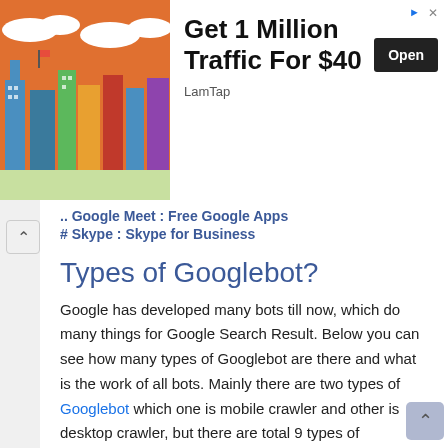[Figure (screenshot): Advertisement banner: colorful city skyline illustration on left, bold text 'Get 1 Million Traffic For $40' with 'LamTap' source and 'Open' button on right]
.. Google Meet : Free Google Apps
# Skype : Skype for Business
Types of Googlebot?
Google has developed many bots till now, which do many things for Google Search Result. Below you can see how many types of Googlebot are there and what is the work of all bots. Mainly there are two types of Googlebot which one is mobile crawler and other is desktop crawler, but there are total 9 types of Googlebot which are as follows-
1. Desktop Googlebot